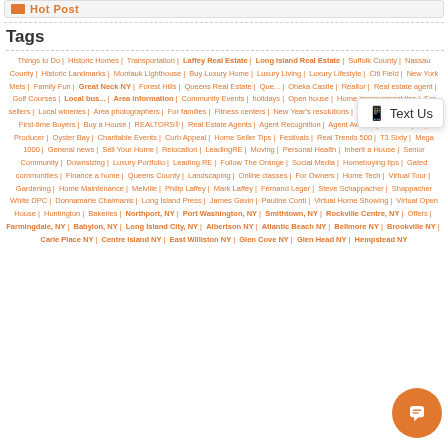Hot Post
Tags
Things to Do | Historic Homes | Transportation | Laffey Real Estate | Long Island Real Estate | Suffolk County | Nassau County | Historic Landmarks | Montauk Lighthouse | Buy Luxury Home | Luxury Living | Luxury Lifestyle | Citi Field | New York Mets | Family Fun | Great Neck NY | Forest Hills | Queens Real Estate | Queens... | Oheka Castle | Realtor | Real estate agent | Golf Courses | Local bus... | Area attractions | Restaurants | Area information | Community Events | ... | holidays | Open house | Home improvement tips | For sellers | Local wineries | Area photographers | For families | Fitness centers | New Year's resolutions | For Buyers | Mortgage | First-time Buyers | Buy a House | REALTORS® | Real Estate Agents | Agent Recognition | Agent Awards | Careers | Top Producer | Oyster Bay | Charitable Events | Curb Appeal | Home Seller Tips | Festivals | Real Trends 500 | T3 Sixty | Mega 1000 | General news | Sell Your Home | Relocation | LeadingRE | Moving | Personal Health | Inherit a House | Senior Community | Downsizing | Luxury Portfolio | Leading RE | Follow The Orange | Social Media | Homebuying tips | Gated communities | Finance a home | Queens County | Landscaping | Online classes | For Owners | Home Tech | Virtual Tour | Gardening | Home Maintenance | Melville | Philip Laffey | Mark Laffey | Fernand Leger | Steve Schappacher | Shappacher White DPC | Donnamarie Chaimanis | Long Island Press | James Gavin | Pauline Conti | Virtual Home Showing | Virtual Open House | Huntington | Bakeries | Northport, NY | Port Washington, NY | Smithtown, NY | ... NY | Rockville Centre, NY | Offers | Farmingdale, NY | Babylon, ... NY | Long Island City, NY | Albertson NY | Atlantic Beach NY | ... | Bellmore NY | Brookville NY | Carle Place NY | Centre Island NY | ... NY | East Williston NY | Glen Cove NY | Glen Head NY | Hempstead NY